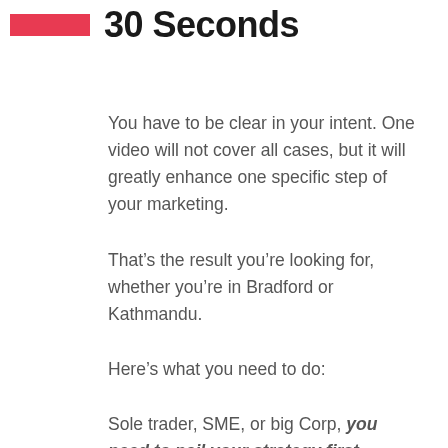30 Seconds
You have to be clear in your intent. One video will not cover all cases, but it will greatly enhance one specific step of your marketing.
That’s the result you’re looking for, whether you’re in Bradford or Kathmandu.
Here’s what you need to do:
Sole trader, SME, or big Corp, you need to nail your strategy first.